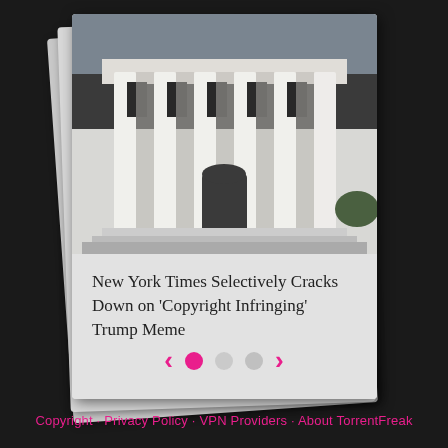[Figure (photo): A polaroid-style photo of the White House showing white columns and facade, with handwritten caption below reading: New York Times Selectively Cracks Down on 'Copyright Infringing' Trump Meme. Behind the front polaroid are two more stacked polaroids slightly offset.]
New York Times Selectively Cracks Down on 'Copyright Infringing' Trump Meme
Copyright · Privacy Policy · VPN Providers · About TorrentFreak